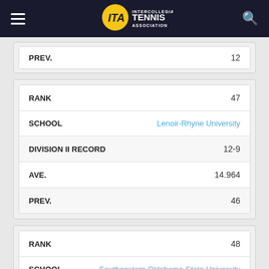ITA Intercollegiate Tennis Association
| Field | Value |
| --- | --- |
| PREV. | 12 |
| Field | Value |
| --- | --- |
| RANK | 47 |
| SCHOOL | Lenoir-Rhyne University |
| DIVISION II RECORD | 12-9 |
| AVE. | 14.964 |
| PREV. | 46 |
| Field | Value |
| --- | --- |
| RANK | 48 |
| SCHOOL | Southeastern Oklahoma State University |
| DIVISION II RECORD | 12-6 |
| AVE. | 14.881 |